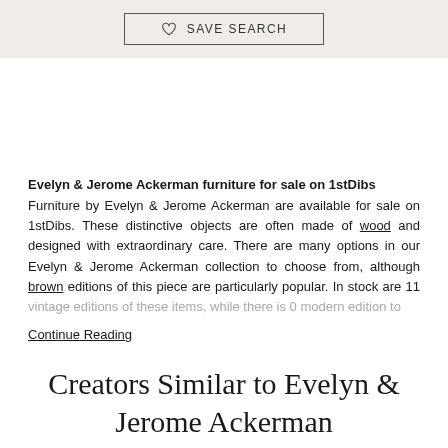♡ SAVE SEARCH
Evelyn & Jerome Ackerman furniture for sale on 1stDibs
Furniture by Evelyn & Jerome Ackerman are available for sale on 1stDibs. These distinctive objects are often made of wood and designed with extraordinary care. There are many options in our Evelyn & Jerome Ackerman collection to choose from, although brown editions of this piece are particularly popular. In stock are 11 vintage editions of these items, while there is 0 modern edition to
Continue Reading
Creators Similar to Evelyn & Jerome Ackerman